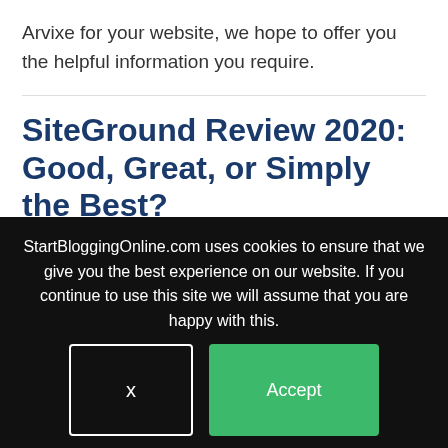Arvixe for your website, we hope to offer you the helpful information you require.
SiteGround Review 2020: Good, Great, or Simply the Best?
StartBloggingOnline.com uses cookies to ensure that we give you the best experience on our website. If you continue to use this site we will assume that you are happy with this.